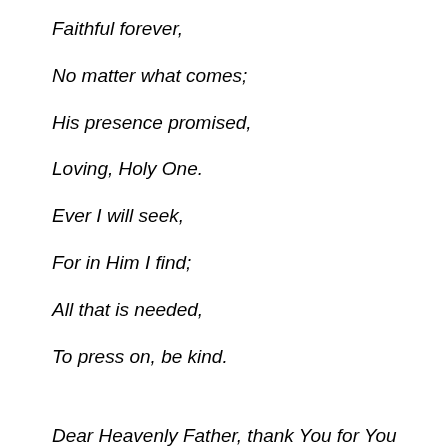Faithful forever,
No matter what comes;
His presence promised,
Loving, Holy One.
Ever I will seek,
For in Him I find;
All that is needed,
To press on, be kind.
Dear Heavenly Father, thank You for You...